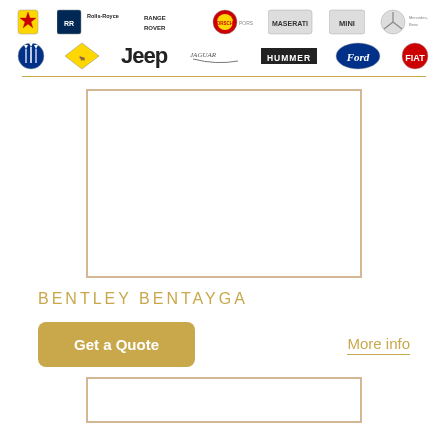[Figure (logo): Row of luxury car brand logos: Ferrari, Rolls-Royce, Range Rover, Porsche, Maserati, MINI, Mercedes-Benz]
[Figure (logo): Row of car brand logos: Maserati (trident), Lamborghini, Jeep, Jaguar, Hummer, Ford, Fiat]
[Figure (photo): Empty white box placeholder for Bentley Bentayga car image]
BENTLEY BENTAYGA
[Figure (other): Get a Quote button (gold) and More info link]
[Figure (photo): Empty white box placeholder for another car image at bottom]